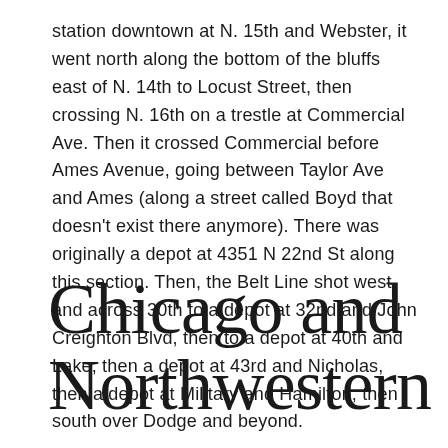station downtown at N. 15th and Webster, it went north along the bottom of the bluffs east of N. 14th to Locust Street, then crossing N. 16th on a trestle at Commercial Ave. Then it crossed Commercial before Ames Avenue, going between Taylor Ave and Ames (along a street called Boyd that doesn't exist there anymore). There was originally a depot at 4351 N 22nd St along this section. Then, the Belt Line shot west and across 30th to a depot at 32nd and John Creighton Blvd, then to a depot at 40th and Lake, then a depot at 43rd and Nicholas, then a depot at Military and Hamilton, then south over Dodge and beyond.
Chicago and Northwestern